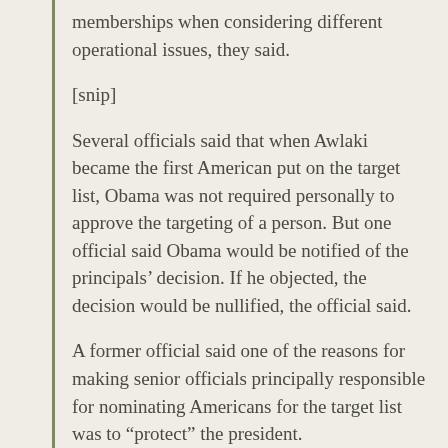memberships when considering different operational issues, they said.
[snip]
Several officials said that when Awlaki became the first American put on the target list, Obama was not required personally to approve the targeting of a person. But one official said Obama would be notified of the principals’ decision. If he objected, the decision would be nullified, the official said.
A former official said one of the reasons for making senior officials principally responsible for nominating Americans for the target list was to “protect” the president.